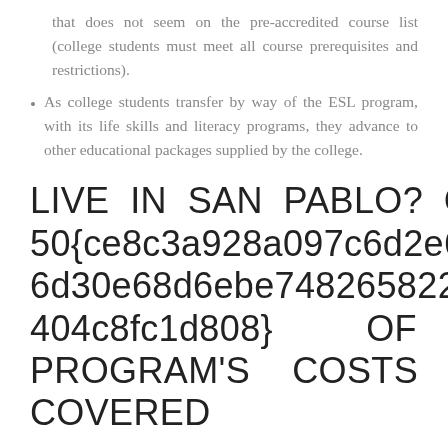that does not seem on the pre-accredited course list (college students must meet all course prerequisites and restrictions).
As college students transfer by way of the ESL program, with its life skills and literacy programs, they advance to other educational packages supplied by the college.
LIVE IN SAN PABLO? GET 50{ce8c3a928a097c6d2e6511ab96d30e68d6ebe74826582246b908404c8fc1d808} OF THIS PROGRAM'S COSTS COVERED
Projects have included serving to particular wants college students launch a espresso store on the